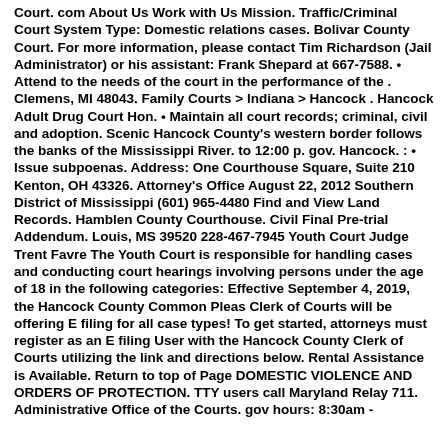Court. com About Us Work with Us Mission. Traffic/Criminal Court System Type: Domestic relations cases. Bolivar County Court. For more information, please contact Tim Richardson (Jail Administrator) or his assistant: Frank Shepard at 667-7588. • Attend to the needs of the court in the performance of the . Clemens, MI 48043. Family Courts > Indiana > Hancock . Hancock Adult Drug Court Hon. • Maintain all court records; criminal, civil and adoption. Scenic Hancock County's western border follows the banks of the Mississippi River. to 12:00 p. gov. Hancock. : • Issue subpoenas. Address: One Courthouse Square, Suite 210 Kenton, OH 43326. Attorney's Office August 22, 2012 Southern District of Mississippi (601) 965-4480 Find and View Land Records. Hamblen County Courthouse. Civil Final Pre-trial Addendum. Louis, MS 39520 228-467-7945 Youth Court Judge Trent Favre The Youth Court is responsible for handling cases and conducting court hearings involving persons under the age of 18 in the following categories: Effective September 4, 2019, the Hancock County Common Pleas Clerk of Courts will be offering E filing for all case types! To get started, attorneys must register as an E filing User with the Hancock County Clerk of Courts utilizing the link and directions below. Rental Assistance is Available. Return to top of Page DOMESTIC VIOLENCE AND ORDERS OF PROTECTION. TTY users call Maryland Relay 711. Administrative Office of the Courts. gov hours: 8:30am -